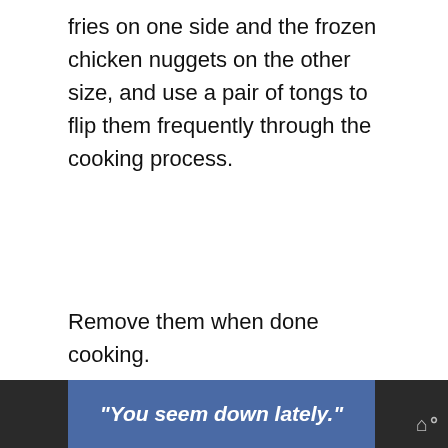fries on one side and the frozen chicken nuggets on the other size, and use a pair of tongs to flip them frequently through the cooking process.
Remove them when done cooking.
Can You Stack Chicken Nuggets In the Air Fryer?
No, if you have them touching each other
[Figure (screenshot): Social sharing sidebar with heart/like button showing count of 1, and a share button]
"You seem down lately."